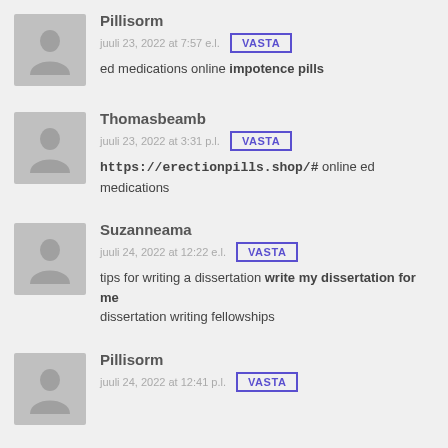Pillisorm
juuli 23, 2022 at 7:57 e.l.  VASTA
ed medications online impotence pills
Thomasbeamb
juuli 23, 2022 at 3:31 p.l.  VASTA
https://erectionpills.shop/# online ed medications
Suzanneama
juuli 24, 2022 at 12:22 e.l.  VASTA
tips for writing a dissertation write my dissertation for me dissertation writing fellowships
Pillisorm
juuli 24, 2022 at 12:41 p.l.  VASTA